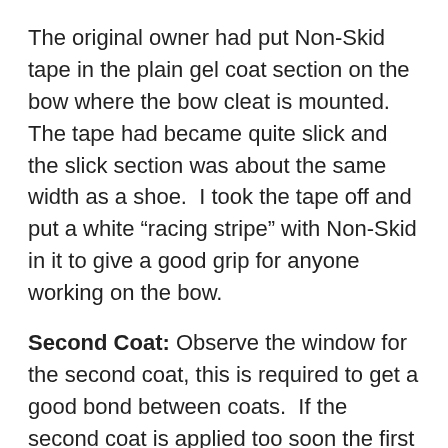The original owner had put Non-Skid tape in the plain gel coat section on the bow where the bow cleat is mounted. The tape had became quite slick and the slick section was about the same width as a shoe. I took the tape off and put a white “racing stripe” with Non-Skid in it to give a good grip for anyone working on the bow.
Second Coat: Observe the window for the second coat, this is required to get a good bond between coats. If the second coat is applied too soon the first coat will not have cured out properly and the second coat will slow the curing of the first coat and the total cure time will be extended greatly.
Curing: Pay attention to the “don’t walk on until” part of the instructions. Give things a day or two extra after the final coat if you want to allow for a warranty that might be voided...